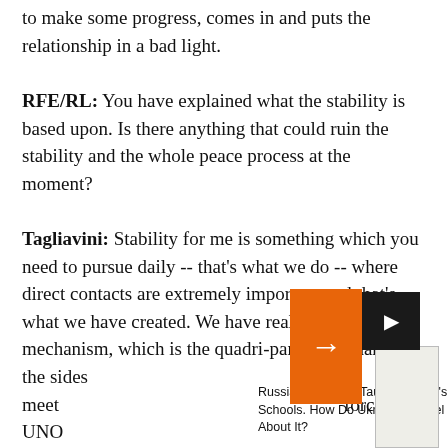to make some progress, comes in and puts the relationship in a bad light.
RFE/RL: You have explained what the stability is based upon. Is there anything that could ruin the stability and the whole peace process at the moment?
Tagliavini: Stability for me is something which you need to pursue daily -- that's what we do -- where direct contacts are extremely important and that's what we have created. We have really enhanced this mechanism, which is the quadri-partite mechanism the sides meet... force and UNO... Mission in Geo...
[Figure (screenshot): UI overlay with orange arrow button, video/camera button, thumbnail image, and sidebar text reading 'Russian Won't Be Taught In Kyiv's Schools. How Do Ukrainians Feel About It?']